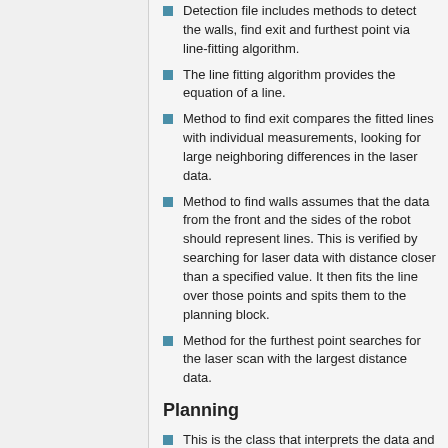Detection file includes methods to detect the walls, find exit and furthest point via line-fitting algorithm.
The line fitting algorithm provides the equation of a line.
Method to find exit compares the fitted lines with individual measurements, looking for large neighboring differences in the laser data.
Method to find walls assumes that the data from the front and the sides of the robot should represent lines. This is verified by searching for laser data with distance closer than a specified value. It then fits the line over those points and spits them to the planning block.
Method for the furthest point searches for the laser scan with the largest distance data.
Planning
This is the class that interprets the data and sets the setpoints for movement. The output is relative angle to the setpoint and distance